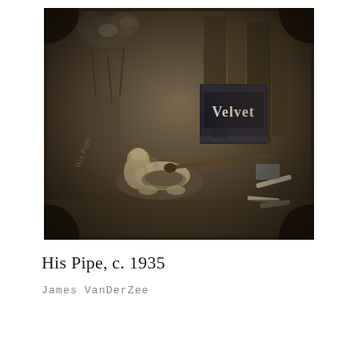[Figure (photo): A sepia-toned vintage photograph titled 'His Pipe, c. 1935' by James VanDerZee. The still life image shows a ceramic dog figurine ashtray, a 'Velvet' tobacco tin, flowers in a vase, a pipe, cigarettes, and books on a surface. The photo has a dark, atmospheric quality with handwritten text 'His Pipe' visible in the lower left of the image.]
His Pipe, c. 1935
James VanDerZee